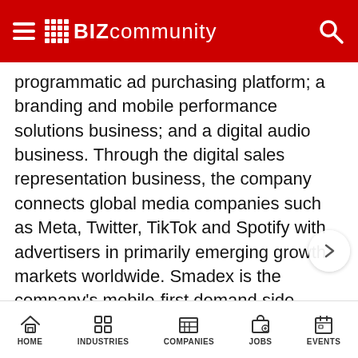Bizcommunity
programmatic ad purchasing platform; a branding and mobile performance solutions business; and a digital audio business. Through the digital sales representation business, the company connects global media companies such as Meta, Twitter, TikTok and Spotify with advertisers in primarily emerging growth markets worldwide. Smadex is the company's mobile-first demand side platform, enabling advertisers to execute performance campaigns using machine learning. Entravision also offers a branding and mobile performance solutions business, which provides managed services to advertisers looking to connect with global consumers, primarily on mobile devices, and a digital audio business provides digital audio advertising
HOME  INDUSTRIES  COMPANIES  JOBS  EVENTS